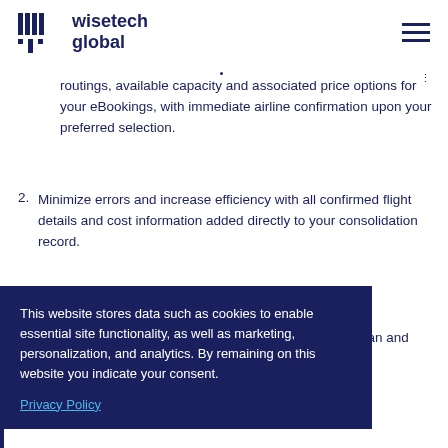wisetech global
routings, available capacity and associated price options for your eBookings, with immediate airline confirmation upon your preferred selection.
2. Minimize errors and increase efficiency with all confirmed flight details and cost information added directly to your consolidation record.
3. View booking updates and events for each ... plan and ... efficiently.
... by the ... keep track of ... dates and any pending or required actions
This website stores data such as cookies to enable essential site functionality, as well as marketing, personalization, and analytics. By remaining on this website you indicate your consent.
Privacy Policy
5. Use configurable workflow tools to automate